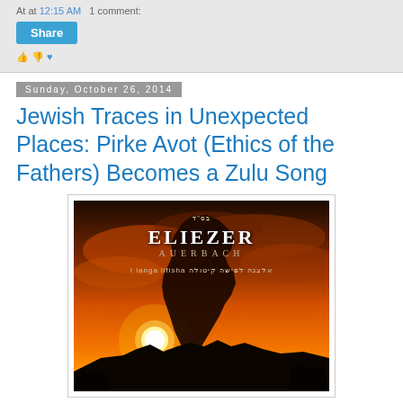At at 12:15 AM   1 comment:
Share
Sunday, October 26, 2014
Jewish Traces in Unexpected Places: Pirke Avot (Ethics of the Fathers) Becomes a Zulu Song
[Figure (photo): Album cover for Eliezer Auerbach featuring African continent silhouette over sunset with text 'ELIEZER AUERBACH' and 'I langa lifisha' in both English and Hebrew]